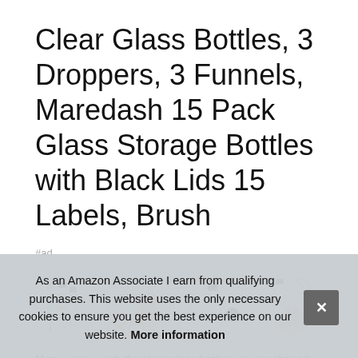Clear Glass Bottles, 3 Droppers, 3 Funnels, Maredash 15 Pack Glass Storage Bottles with Black Lids 15 Labels, Brush
#ad
[Figure (photo): Four product thumbnail images of glass bottles: first shows bottles and brush, second shows '4 OZ CLEAR GLASS BOTTLES' label with liquid, third shows 'SUPERIOR QUALITY' with a bottle and black lid, fourth shows a hand holding a glass bottle.]
Man... qua... with the clear glass bottles you purchased for any reason,
As an Amazon Associate I earn from qualifying purchases. This website uses the only necessary cookies to ensure you get the best experience on our website. More information